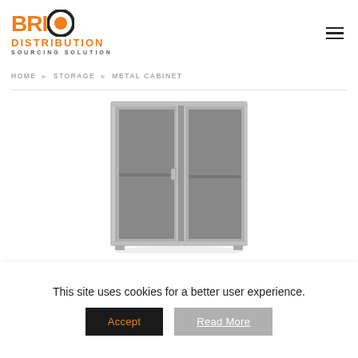[Figure (logo): BRICO Distribution Sourcing Solution logo with orange and black text]
HOME ▹ STORAGE ▹ METAL CABINET
[Figure (photo): Gray metal two-door locker cabinet with doors open showing interior shelves]
This site uses cookies for a better user experience.
Accept
Read More